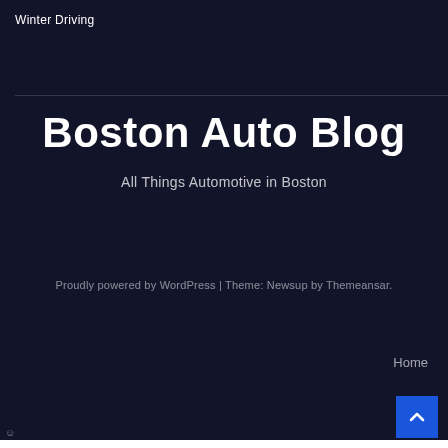Winter Driving
Boston Auto Blog
All Things Automotive in Boston
Proudly powered by WordPress | Theme: Newsup by Themeansar.
Home